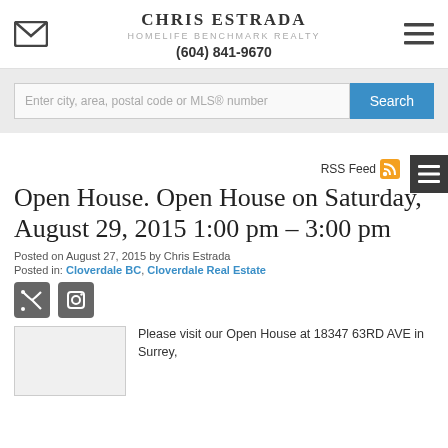CHRIS ESTRADA
HOMELIFE BENCHMARK REALTY
(604) 841-9670
Enter city, area, postal code or MLS® number
RSS Feed
Open House. Open House on Saturday, August 29, 2015 1:00 pm – 3:00 pm
Posted on August 27, 2015 by Chris Estrada
Posted in: Cloverdale BC, Cloverdale Real Estate
Please visit our Open House at 18347 63RD AVE in Surrey,